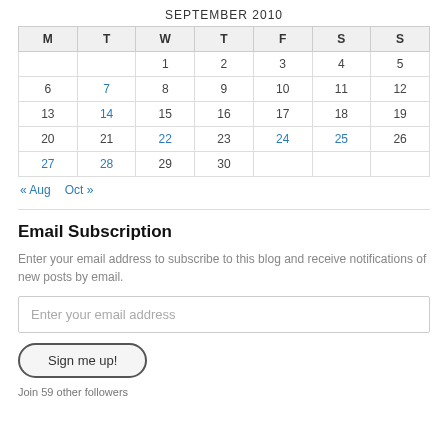SEPTEMBER 2010
| M | T | W | T | F | S | S |
| --- | --- | --- | --- | --- | --- | --- |
|  |  | 1 | 2 | 3 | 4 | 5 |
| 6 | 7 | 8 | 9 | 10 | 11 | 12 |
| 13 | 14 | 15 | 16 | 17 | 18 | 19 |
| 20 | 21 | 22 | 23 | 24 | 25 | 26 |
| 27 | 28 | 29 | 30 |  |  |  |
« Aug   Oct »
Email Subscription
Enter your email address to subscribe to this blog and receive notifications of new posts by email.
Enter your email address
Sign me up!
Join 59 other followers